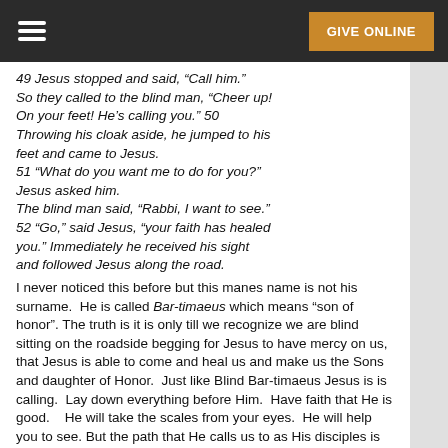GIVE ONLINE
49 Jesus stopped and said, “Call him.” So they called to the blind man, “Cheer up! On your feet! He’s calling you.” 50 Throwing his cloak aside, he jumped to his feet and came to Jesus. 51 “What do you want me to do for you?” Jesus asked him. The blind man said, “Rabbi, I want to see.” 52 “Go,” said Jesus, “your faith has healed you.” Immediately he received his sight and followed Jesus along the road.
I never noticed this before but this manes name is not his surname.  He is called Bar-timaeus which means “son of honor”.  The truth is it is only till we recognize we are blind sitting on the roadside begging for Jesus to have mercy on us, that Jesus is able to come and heal us and make us the Sons and daughter of Honor.  Just like Blind Bar-timaeus Jesus is is calling.  Lay down everything before Him.  Have faith that He is good.   He will take the scales from your eyes.  He will help you to see.  But the path that He calls us to as His disciples is more than he who sacrifices...